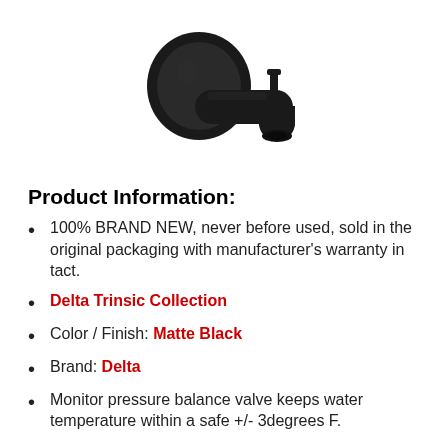[Figure (photo): Black matte bathtub spout/tap with a round wall mount flange and a small diverter pin on top, shown on a white background.]
Product Information:
100% BRAND NEW, never before used, sold in the original packaging with manufacturer's warranty in tact.
Delta Trinsic Collection
Color / Finish: Matte Black
Brand: Delta
Monitor pressure balance valve keeps water temperature within a safe +/- 3degrees F.